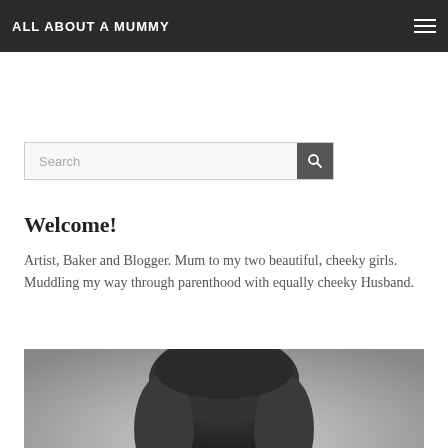ALL ABOUT A MUMMY
Search
Welcome!
Artist, Baker and Blogger. Mum to my two beautiful, cheeky girls. Muddling my way through parenthood with equally cheeky Husband.
[Figure (photo): Black and white portrait photograph of a woman, showing the top of her head and hair]